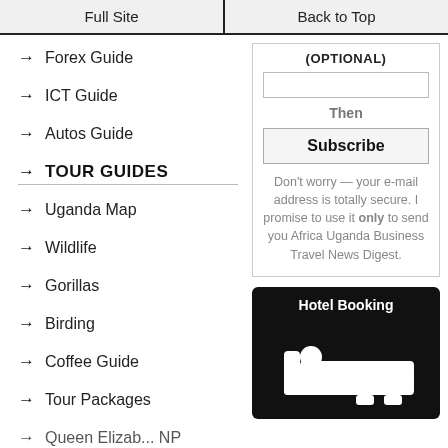Full Site | Back to Top
→ Forex Guide
→ ICT Guide
→ Autos Guide
→ TOUR GUIDES
→ Uganda Map
→ Wildlife
→ Gorillas
→ Birding
→ Coffee Guide
→ Tour Packages
(OPTIONAL)
Then
Subscribe
Don't worry — your e-mail address is totally secure. I promise to use it only to send you Africa Uganda Business Travel News Digest.
[Figure (illustration): Hotel Booking icon showing a person lying in bed, white icon on black background]